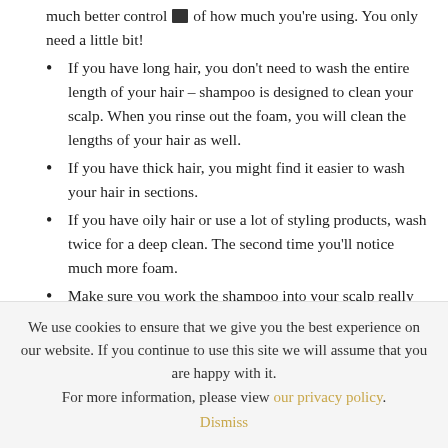much better control of how much you're using. You only need a little bit!
If you have long hair, you don't need to wash the entire length of your hair – shampoo is designed to clean your scalp. When you rinse out the foam, you will clean the lengths of your hair as well.
If you have thick hair, you might find it easier to wash your hair in sections.
If you have oily hair or use a lot of styling products, wash twice for a deep clean. The second time you'll notice much more foam.
Make sure you work the shampoo into your scalp really well. A scalp brush is a really convenient way to do this.
We use cookies to ensure that we give you the best experience on our website. If you continue to use this site we will assume that you are happy with it. For more information, please view our privacy policy. Dismiss